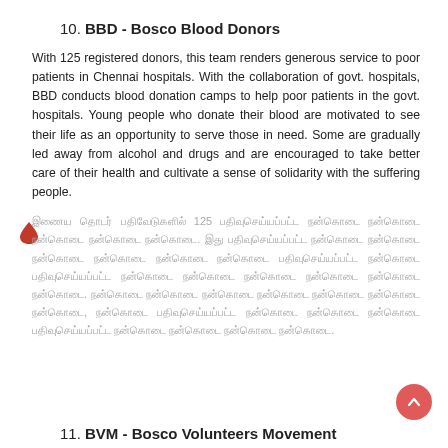10. BBD - Bosco Blood Donors
With 125 registered donors, this team renders generous service to poor patients in Chennai hospitals. With the collaboration of govt. hospitals, BBD conducts blood donation camps to help poor patients in the govt. hospitals. Young people who donate their blood are motivated to see their life as an opportunity to serve those in need. Some are gradually led away from alcohol and drugs and are encouraged to take better care of their health and cultivate a sense of solidarity with the suffering people.
இணைய தொடர் பதிவேடுகளில் 125 பதிவுசெய்யப்பட்ட நன்கொடை நன்கொடை நன்கொடை நன்கொடை நன்கொடை. இது பதிவுசெய்யப்பட்ட நன்கொடை நன்கொடை நன்கொடை நன்கொடை நன்கொடை நன்கொடை பதிவுசெய்யப்பட்ட நன்கொடை பதிவுசெய்யப்பட்ட நன்கொடை நன்கொடை நன்கொடை நன்கொடை நன்கொடை நன்கொடை. நன்கொடை நன்கொடை நன்கொடை நன்கொடை நன்கொடை நன்கொடை நன்கொடை, நன்கொடை பதிவுசெய்யப்பட்ட நன்கொடை நன்கொடை நன்கொடை பதிவுசெய்யப்பட்ட நன்கொடை நன்கொடை நன்கொடை நன்கொடை.
11. BVM - Bosco Volunteers Movement